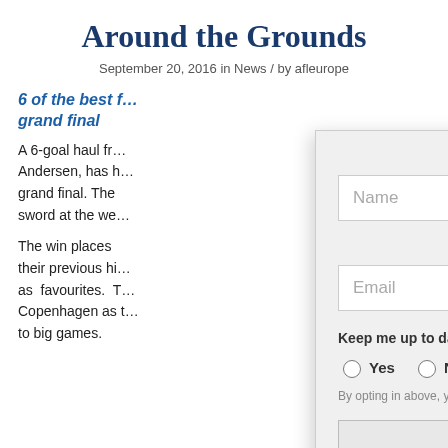Around the Grounds
September 20, 2016 in News / by afleurope
6 of the best f… grand final
A 6-goal haul fr… Andersen, has h… grand final. The… sword at the we…
The win places… their previous hi… as favourites. T… Copenhagen as t… to big games.
Name
Name
Email
Email
Keep me up to date with all the latest news from AFL Europe.
Yes   No
By opting in above, you agree to receive emails from AFL Europe
Subscribe
CLOSE